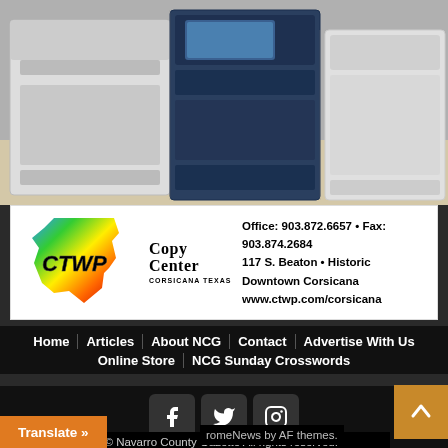[Figure (photo): Photo of office printers/copiers, multiple large multifunction printers in gray, white, and blue colors]
[Figure (logo): CTWP Copy Center Corsicana Texas advertisement banner with logo, phone/fax numbers and address: Office: 903.872.6657 • Fax: 903.874.2684, 117 S. Beaton • Historic Downtown Corsicana, www.ctwp.com/corsicana]
Home | Articles | About NCG | Contact | Advertise With Us | Online Store | NCG Sunday Crosswords
[Figure (infographic): Social media icons: Facebook, Twitter, Instagram in dark square buttons]
Copyright © Navarro County Gazette All rights reserved.
romeNews by AF themes.
Translate »